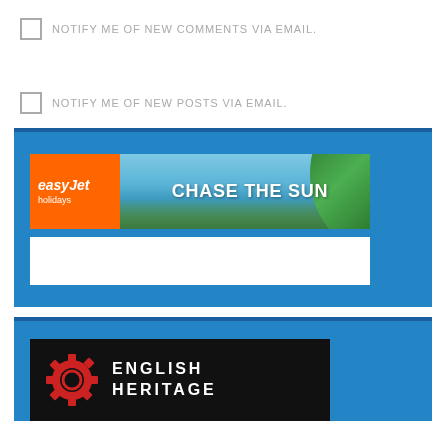NOTIFY ME OF NEW COMMENTS VIA EMAIL.
NOTIFY ME OF NEW POSTS VIA EMAIL.
[Figure (screenshot): easyJet holidays advertisement banner with 'CHASE THE SUN' text over a coastal scene, with a white bar below]
[Figure (logo): English Heritage logo on black background with red gear/cog icon and white text]